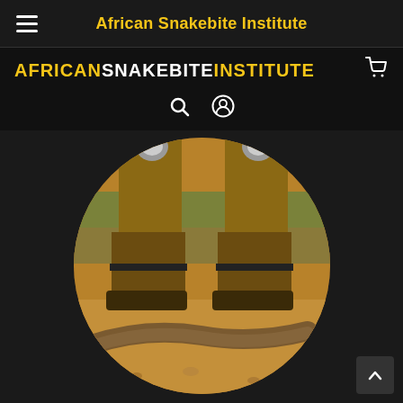African Snakebite Institute
AFRICANSNAKEBITEINSTITUTE
[Figure (photo): Circular cropped photo showing a person's legs wearing boots with snake gaiters, standing near a large snake on sandy/rocky ground with sparse grass in background]
What is the deadliest snake in Southern